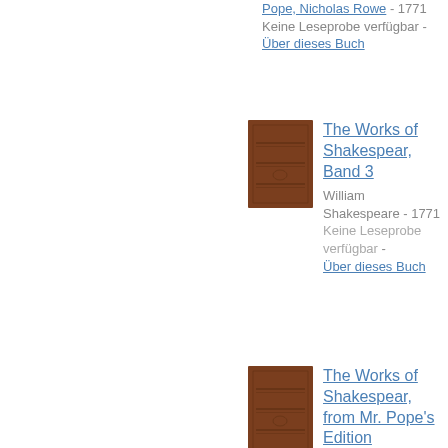Pope, Nicholas Rowe - 1771
Keine Leseprobe verfügbar -
Über dieses Buch
[Figure (photo): Brown book cover with horizontal lines and small emblem, The Works of Shakespear Band 3]
The Works of Shakespear, Band 3
William Shakespeare - 1771
Keine Leseprobe verfügbar -
Über dieses Buch
[Figure (photo): Brown book cover with horizontal lines and small emblem, The Works of Shakespear from Mr. Pope's Edition]
The Works of Shakespear, from Mr. Pope's Edition